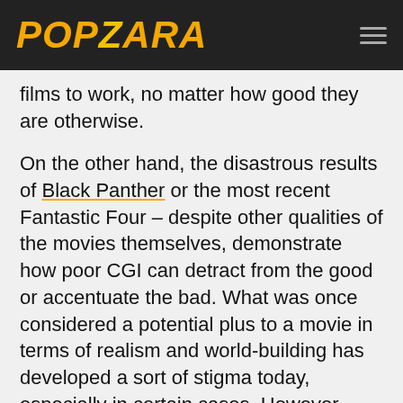POPZARA
films to work, no matter how good they are otherwise.
On the other hand, the disastrous results of Black Panther or the most recent Fantastic Four – despite other qualities of the movies themselves, demonstrate how poor CGI can detract from the good or accentuate the bad. What was once considered a potential plus to a movie in terms of realism and world-building has developed a sort of stigma today, especially in certain cases. However, 2021's live-action/animation hybrid Tom & Jerry takes a very different approach, even compared to its non-superhero movie compatriots.